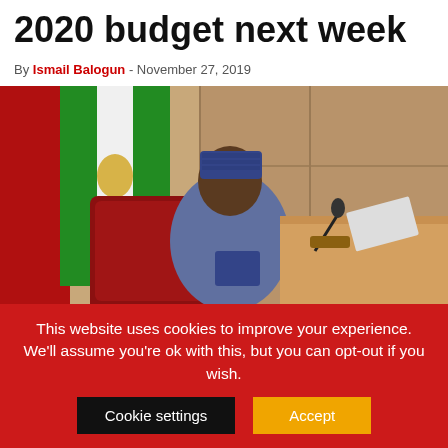2020 budget next week
By Ismail Balogun - November 27, 2019
[Figure (photo): A man in a blue traditional Nigerian outfit and embroidered cap sits at a legislative podium in a parliament chamber, with a Nigerian flag and red leather chair visible in the background.]
This website uses cookies to improve your experience. We'll assume you're ok with this, but you can opt-out if you wish. Cookie settings Accept